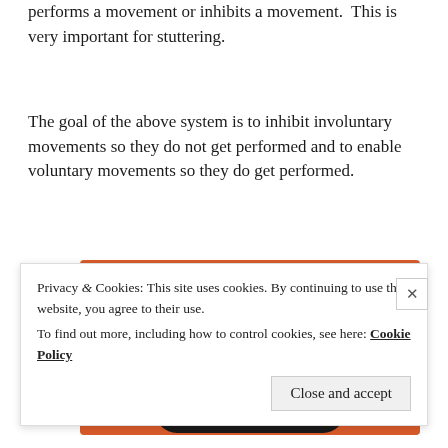performs a movement or inhibits a movement. This is very important for stuttering.
The goal of the above system is to inhibit involuntary movements so they do not get performed and to enable voluntary movements so they do get performed.
[Figure (screenshot): Screenshot of a smartphone displaying the DuckDuckGo app on an orange background with text 'All in One Free App']
Privacy & Cookies: This site uses cookies. By continuing to use this website, you agree to their use.
To find out more, including how to control cookies, see here: Cookie Policy